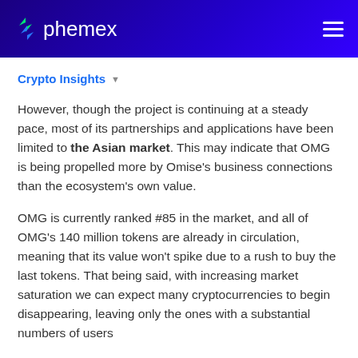phemex
Crypto Insights
However, though the project is continuing at a steady pace, most of its partnerships and applications have been limited to the Asian market. This may indicate that OMG is being propelled more by Omise's business connections than the ecosystem's own value.
OMG is currently ranked #85 in the market, and all of OMG's 140 million tokens are already in circulation, meaning that its value won't spike due to a rush to buy the last tokens. That being said, with increasing market saturation we can expect many cryptocurrencies to begin disappearing, leaving only the ones with a substantial numbers of users